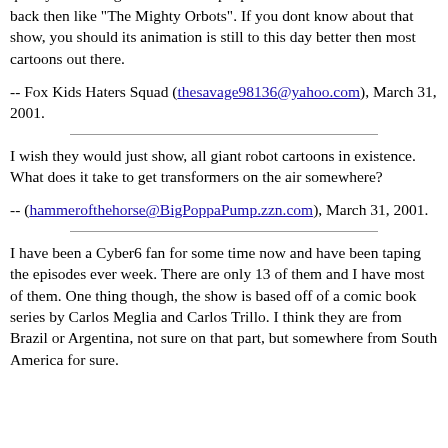ratings fell as fast as the movie). Maybe they should be looking into quality reshowings of shows that people need to be aware exsisted back then like "The Mighty Orbots". If you dont know about that show, you should its animation is still to this day better then most cartoons out there.
-- Fox Kids Haters Squad (thesavage98136@yahoo.com), March 31, 2001.
I wish they would just show, all giant robot cartoons in existence. What does it take to get transformers on the air somewhere?
-- (hammerofthehorse@BigPoppaPump.zzn.com), March 31, 2001.
I have been a Cyber6 fan for some time now and have been taping the episodes ever week. There are only 13 of them and I have most of them. One thing though, the show is based off of a comic book series by Carlos Meglia and Carlos Trillo. I think they are from Brazil or Argentina, not sure on that part, but somewhere from South America for sure.